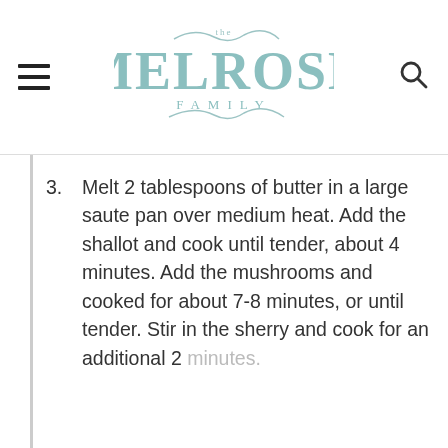the MELROSE FAMILY
3. Melt 2 tablespoons of butter in a large saute pan over medium heat. Add the shallot and cook until tender, about 4 minutes. Add the mushrooms and cooked for about 7-8 minutes, or until tender. Stir in the sherry and cook for an additional 2 minutes.